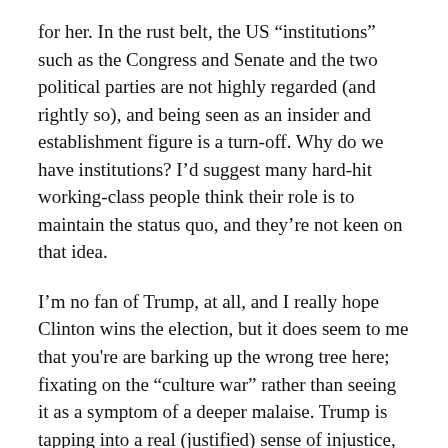for her. In the rust belt, the US “institutions” such as the Congress and Senate and the two political parties are not highly regarded (and rightly so), and being seen as an insider and establishment figure is a turn-off. Why do we have institutions? I’d suggest many hard-hit working-class people think their role is to maintain the status quo, and they’re not keen on that idea.
I’m no fan of Trump, at all, and I really hope Clinton wins the election, but it does seem to me that you're are barking up the wrong tree here; fixating on the “culture war” rather than seeing it as a symptom of a deeper malaise. Trump is tapping into a real (justified) sense of injustice, and a frustration with the American system’s failure to really grapple with the deep economic crisis. But Clinton is no radical, like Sanders, and she can’t tap into this well-spring of working-class frustration, which is falling for Trump.
Bernie Sanders’ support base included a lot of these people who are now going to Trump. They've been brought up on Fox News and they're not